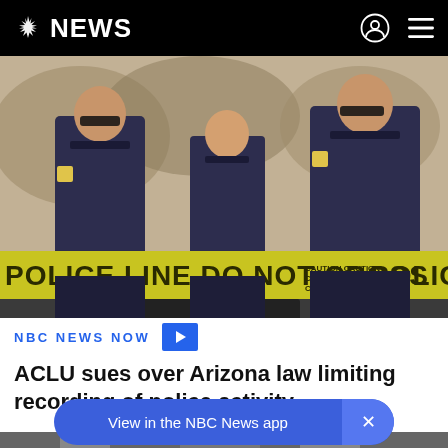NBC NEWS
[Figure (photo): Police officers in dark uniforms standing behind yellow police tape reading 'POLICE LINE DO NOT CROSS']
NBC NEWS NOW
ACLU sues over Arizona law limiting recording of police activity
[Figure (photo): Partial view of a second image at the bottom of the page, black and white, showing people]
View in the NBC News app